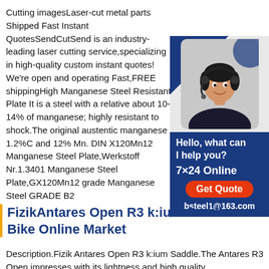Cutting imagesLaser-cut metal parts Shipped Fast Instant QuotesSendCutSend is an industry-leading laser cutting service,specializing in high-quality custom instant quotes! We're open and operating Fast,FREE shippingHigh Manganese Steel Resistant Plate It is a steel with a relative about 10-14% of manganese; highly resistant to shock.The original austentic manganese 1.2%C and 12% Mn. DIN X120Mn12 Manganese Steel Plate,Werkstoff Nr.1.3401 Manganese Steel Plate,GX120Mn12 grade Manganese Steel GRADE B2
[Figure (photo): Customer service representative with headset, wearing dark clothing, smiling. Blue background with contact info overlay: 'Hello, what can I help you?', '7×24 Online', 'Get Quote' button, 'bsteel1@163.com']
FizikAntares Open R3 k:ium Saddle Bike Online Market
Description.Fizik Antares Open R3 k:ium Saddle.The Antares R3 Open impresses with its lightness and high quality.